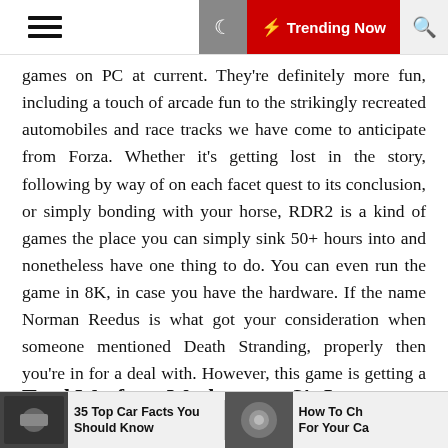≡  🌙  ⚡ Trending Now  🔍
games on PC at current. They're definitely more fun, including a touch of arcade fun to the strikingly recreated automobiles and race tracks we have come to anticipate from Forza. Whether it's getting lost in the story, following by way of on each facet quest to its conclusion, or simply bonding with your horse, RDR2 is a kind of games the place you can simply sink 50+ hours into and nonetheless have one thing to do. You can even run the game in 8K, in case you have the hardware. If the name Norman Reedus is what got your consideration when someone mentioned Death Stranding, properly then you're in for a deal with. However, this game is getting a lot of consideration for more than just the big names connected to it, which by the way embrace Mads Mikkelsen and Léa Seydoux.
Total Warfare: Warhammer 3's Large Boss
35 Top Car Facts You Should Know
How To Ch For Your Ca